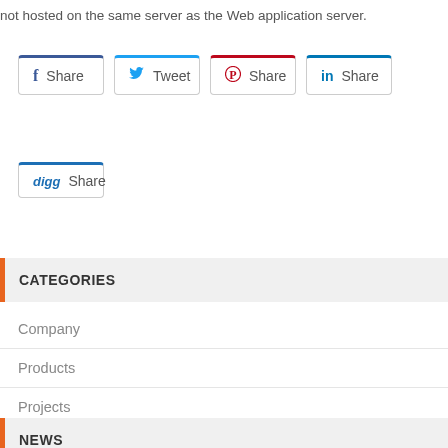not hosted on the same server as the Web application server.
[Figure (screenshot): Social share buttons: Facebook Share, Twitter Tweet, Pinterest Share, LinkedIn Share, Digg Share]
CATEGORIES
Company
Products
Projects
NEWS